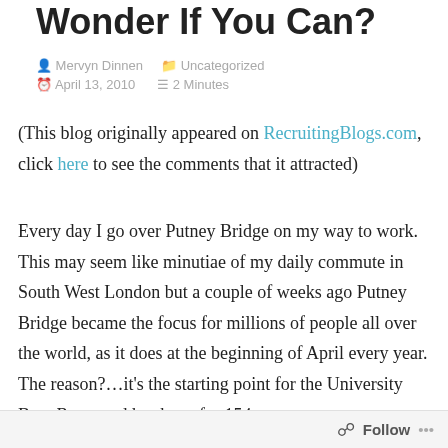Wonder If You Can?
Mervyn Dinnen   Uncategorized
April 13, 2010   2 Minutes
(This blog originally appeared on RecruitingBlogs.com, click here to see the comments that it attracted)
Every day I go over Putney Bridge on my way to work. This may seem like minutiae of my daily commute in South West London but a couple of weeks ago Putney Bridge became the focus for millions of people all over the world, as it does at the beginning of April every year. The reason?…it's the starting point for the University Boat Race, and has been for 154 years.
Follow